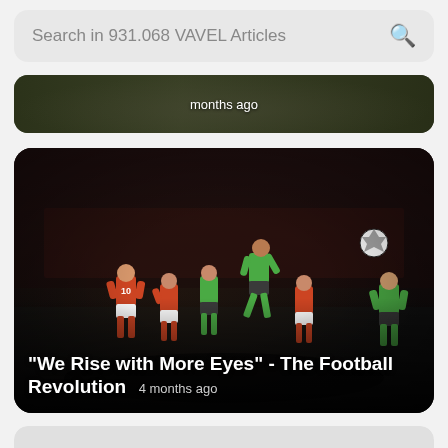Search in 931.068 VAVEL Articles
[Figure (photo): Partial article card showing football scene, partially cut off at top]
[Figure (photo): Women's football match photo — players in orange (Arsenal) vs green (Wolfsburg) kits at a stadium at night. A ball is visible in the air on the right side. Dark atmosphere with stadium seats in background.]
"We Rise with More Eyes" - The Football Revolution
4 months ago
[Figure (photo): Partial card visible at the very bottom, mostly cut off]